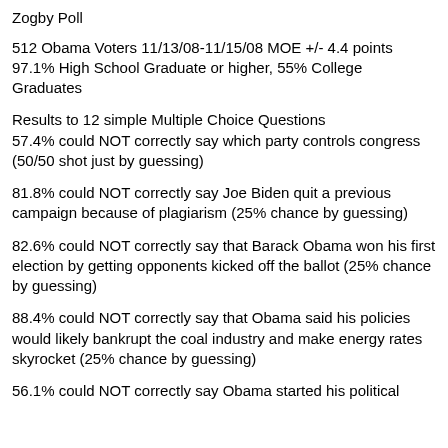Zogby Poll
512 Obama Voters 11/13/08-11/15/08 MOE +/- 4.4 points
97.1% High School Graduate or higher, 55% College Graduates
Results to 12 simple Multiple Choice Questions
57.4% could NOT correctly say which party controls congress (50/50 shot just by guessing)
81.8% could NOT correctly say Joe Biden quit a previous campaign because of plagiarism (25% chance by guessing)
82.6% could NOT correctly say that Barack Obama won his first election by getting opponents kicked off the ballot (25% chance by guessing)
88.4% could NOT correctly say that Obama said his policies would likely bankrupt the coal industry and make energy rates skyrocket (25% chance by guessing)
56.1% could NOT correctly say Obama started his political